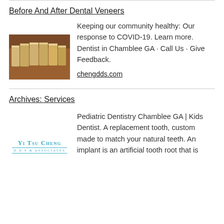Before And After Dental Veneers
[Figure (photo): Close-up photo of teeth before dental veneer treatment, showing yellowish/discolored upper front teeth]
Keeping our community healthy: Our response to COVID-19. Learn more. Dentist in Chamblee GA · Call Us · Give Feedback.
chengdds.com
Archives: Services
[Figure (logo): Yi Tsu Cheng D.D.S & Associates logo in teal/cyan color]
Pediatric Dentistry Chamblee GA | Kids Dentist. A replacement tooth, custom made to match your natural teeth. An implant is an artificial tooth root that is